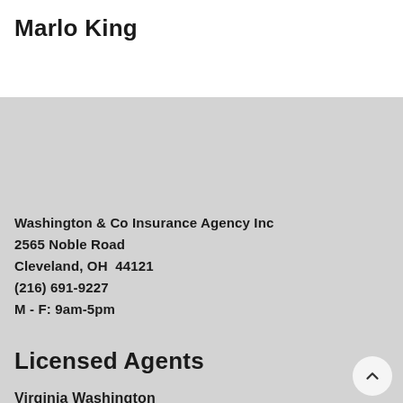Marlo King
Washington & Co Insurance Agency Inc
2565 Noble Road
Cleveland, OH  44121
(216) 691-9227
M - F: 9am-5pm
Licensed Agents
Virginia Washington
Juanita Lowe
Marlo King
USEFUL LINKS